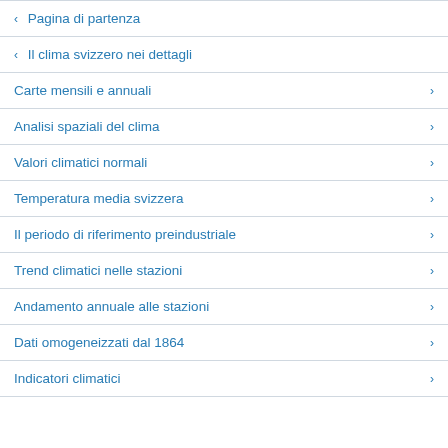< Pagina di partenza
< Il clima svizzero nei dettagli
Carte mensili e annuali >
Analisi spaziali del clima >
Valori climatici normali >
Temperatura media svizzera >
Il periodo di riferimento preindustriale >
Trend climatici nelle stazioni >
Andamento annuale alle stazioni >
Dati omogeneizzati dal 1864 >
Indicatori climatici >